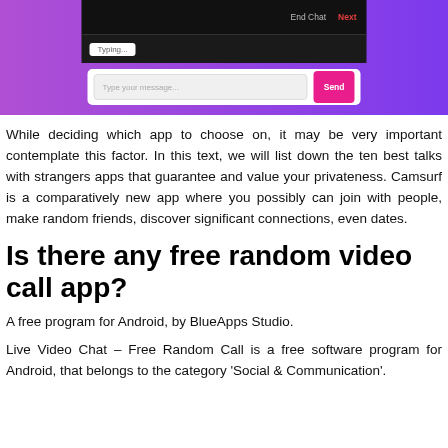[Figure (screenshot): App screenshot showing a chat interface with a dark top bar containing 'End Chat' and 'Next' labels, a typing indicator, a message input field with placeholder 'Type your message...' and a pink 'Send' button, set against a purple gradient background.]
While deciding which app to choose on, it may be very important contemplate this factor. In this text, we will list down the ten best talks with strangers apps that guarantee and value your privateness. Camsurf is a comparatively new app where you possibly can join with people, make random friends, discover significant connections, even dates.
Is there any free random video call app?
A free program for Android, by BlueApps Studio.
Live Video Chat – Free Random Call is a free software program for Android, that belongs to the category 'Social & Communication'.